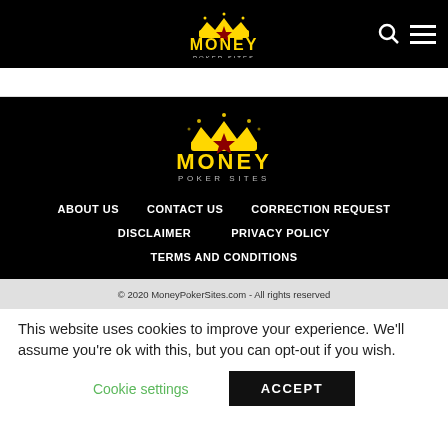MONEY POKER SITES
[Figure (logo): Money Poker Sites logo with golden crown and star, on black background, footer version]
ABOUT US
CONTACT US
CORRECTION REQUEST
DISCLAIMER
PRIVACY POLICY
TERMS AND CONDITIONS
© 2020 MoneyPokerSites.com - All rights reserved
This website uses cookies to improve your experience. We'll assume you're ok with this, but you can opt-out if you wish.
Cookie settings    ACCEPT